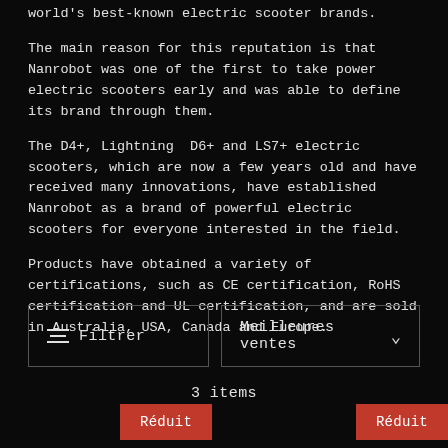world's best-known electric scooter brands.
The main reason for this reputation is that Nanrobot was one of the first to take power electric scooters early and was able to define its brand through them.
The D4+, Lightning  D6+ and LS7+ electric scooters, which are now a few years old and have received many innovations, have established Nanrobot as a brand of powerful electric scooters for everyone interested in the field.
Products have obtained a variety of certifications, such as CE certification, RoHS certification and UL certification, and are sold in Australia, USA, Canada and Europe.
Filtrer
Meilleures ventes
3 items
Réduit
Réduit